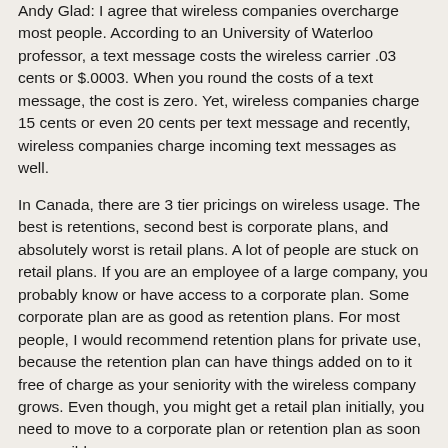Andy Glad: I agree that wireless companies overcharge most people. According to an University of Waterloo professor, a text message costs the wireless carrier .03 cents or $.0003. When you round the costs of a text message, the cost is zero. Yet, wireless companies charge 15 cents or even 20 cents per text message and recently, wireless companies charge incoming text messages as well.
In Canada, there are 3 tier pricings on wireless usage. The best is retentions, second best is corporate plans, and absolutely worst is retail plans. A lot of people are stuck on retail plans. If you are an employee of a large company, you probably know or have access to a corporate plan. Some corporate plan are as good as retention plans. For most people, I would recommend retention plans for private use, because the retention plan can have things added on to it free of charge as your seniority with the wireless company grows. Even though, you might get a retail plan initially, you need to move to a corporate plan or retention plan as soon as possible.
Reply